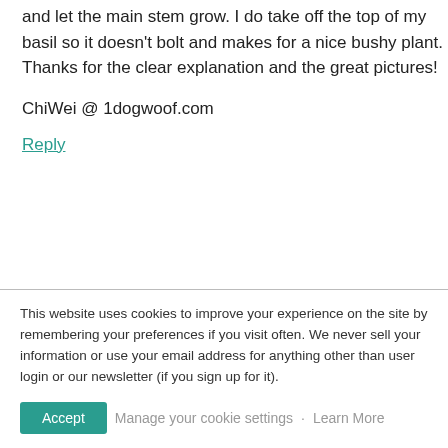and let the main stem grow. I do take off the top of my basil so it doesn't bolt and makes for a nice bushy plant. Thanks for the clear explanation and the great pictures!
ChiWei @ 1dogwoof.com
Reply
Jessi   10 years ago
Good question! You can prune any plant this
This website uses cookies to improve your experience on the site by remembering your preferences if you visit often. We never sell your information or use your email address for anything other than user login or our newsletter (if you sign up for it).
Accept   Manage your cookie settings   ·   Learn More